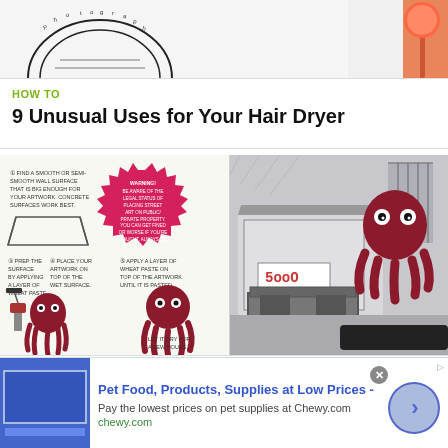[Figure (illustration): Top portion of two illustrations: left shows a circular stamp/badge illustration, right shows a lollipop illustration on orange/coral background]
HOW TO
9 Unusual Uses for Your Hair Dryer
[Figure (illustration): Illustrated how-to guide for making a wheatpaste poster: steps shown with octopus-like character and instructions for finding a wall, applying wheat paste, placing artwork, and letting it dry. Right side shows street scene with octopus character on building and dumpster.]
STREET ART 101
How to Make a Wheatpaste Poster
[Figure (other): Advertisement: Chewy.com - Pet Food, Products, Supplies at Low Prices. Pay the lowest prices on pet supplies at Chewy.com. chewy.com. Blue banner ad with arrow button.]